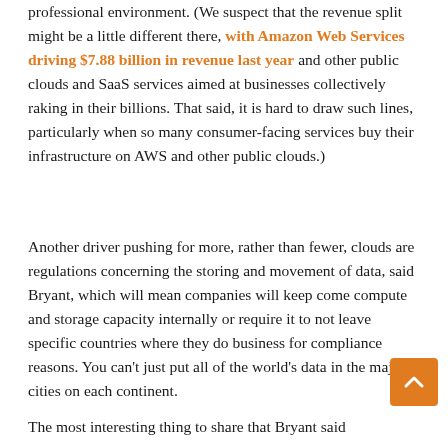professional environment. (We suspect that the revenue split might be a little different there, with Amazon Web Services driving $7.88 billion in revenue last year and other public clouds and SaaS services aimed at businesses collectively raking in their billions. That said, it is hard to draw such lines, particularly when so many consumer-facing services buy their infrastructure on AWS and other public clouds.)
Another driver pushing for more, rather than fewer, clouds are regulations concerning the storing and movement of data, said Bryant, which will mean companies will keep come compute and storage capacity internally or require it to not leave specific countries where they do business for compliance reasons. You can't just put all of the world's data in the major cities on each continent.
The most interesting thing to share that Bryant said...